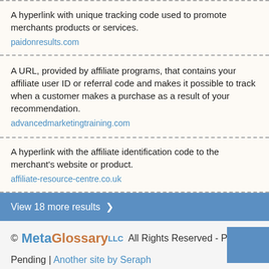A hyperlink with unique tracking code used to promote merchants products or services.
paidonresults.com
A URL, provided by affiliate programs, that contains your affiliate user ID or referral code and makes it possible to track when a customer makes a purchase as a result of your recommendation.
advancedmarketingtraining.com
A hyperlink with the affiliate identification code to the merchant's website or product.
affiliate-resource-centre.co.uk
View 18 more results ▶
© MetaGlossary LLC All Rights Reserved - Patent Pending | Another site by Seraph